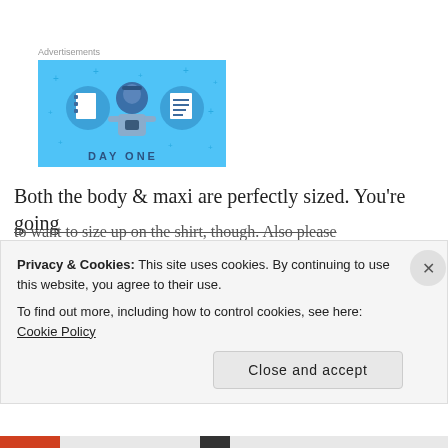Advertisements
[Figure (illustration): Advertisement banner with light blue background showing a cartoon person with notebook and document icons, text partially visible reading 'DAY ONE']
Both the body & maxi are perfectly sized. You're going to want to size up on the shirt, though. Also please
Privacy & Cookies: This site uses cookies. By continuing to use this website, you agree to their use.
To find out more, including how to control cookies, see here: Cookie Policy
Close and accept